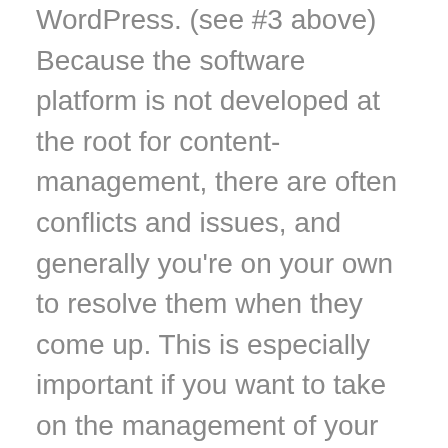WordPress. (see #3 above) Because the software platform is not developed at the root for content-management, there are often conflicts and issues, and generally you're on your own to resolve them when they come up. This is especially important if you want to take on the management of your website.
WordPress can be a great for posting a quick blog, but if you want your website to collect data securely or (more importantly) collect leads that can turn into sales, walk away from WordPress now. Is there a CMS plug-in for WordPress? Yes, there's a plug-